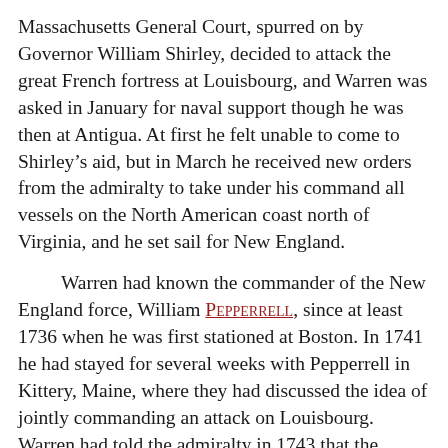Massachusetts General Court, spurred on by Governor William Shirley, decided to attack the great French fortress at Louisbourg, and Warren was asked in January for naval support though he was then at Antigua. At first he felt unable to come to Shirley’s aid, but in March he received new orders from the admiralty to take under his command all vessels on the North American coast north of Virginia, and he set sail for New England.
Warren had known the commander of the New England force, William Pepperrell, since at least 1736 when he was first stationed at Boston. In 1741 he had stayed for several weeks with Pepperrell in Kittery, Maine, where they had discussed the idea of jointly commanding an attack on Louisbourg. Warren had told the admiralty in 1743 that the capture “of Canada and Cape Bretoon, wou’d be of greater consequence to Great Britain than any other conquest that we may hope to make in a Spanish or French war.” His idea had been to capture the fortress with regular British troops and suitable artillery, supported by colonial levies and protected by a properly equipped squadron.